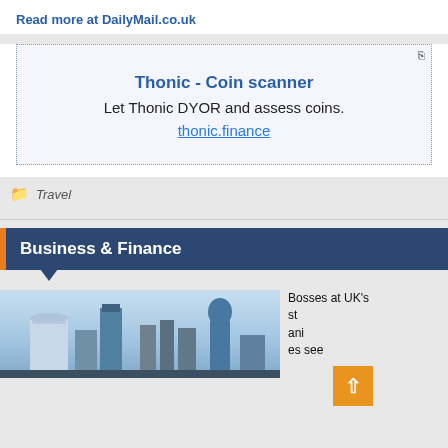Read more at DailyMail.co.uk
[Figure (other): Advertisement box for Thonic - Coin scanner with dotted border. Title: Thonic - Coin scanner. Subtitle: Let Thonic DYOR and assess coins. Link: thonic.finance]
Travel
Business & Finance
[Figure (photo): Photo of London city skyline including the Walkie Talkie building and Gherkin building]
Bosses at UK's st ani es see